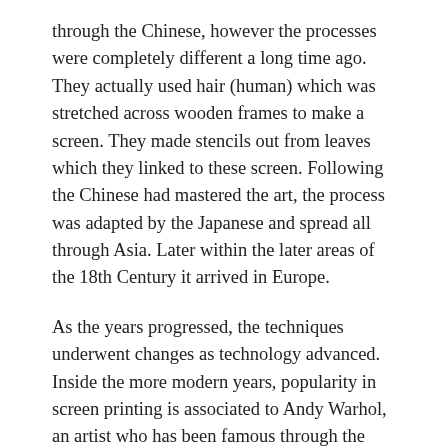through the Chinese, however the processes were completely different a long time ago. They actually used hair (human) which was stretched across wooden frames to make a screen. They made stencils out from leaves which they linked to these screen. Following the Chinese had mastered the art, the process was adapted by the Japanese and spread all through Asia. Later within the later areas of the 18th Century it arrived in Europe.
As the years progressed, the techniques underwent changes as technology advanced. Inside the more modern years, popularity in screen printing is associated to Andy Warhol, an artist who has been famous through the 1960's when he used the skill of screen printing within his artwork.
Today the screens are constructed out from mesh which is synthetic polymers for example nylon opposed to human hair. In addition, there exists typically one screen for all of the colors which can be lined-up and then printed.